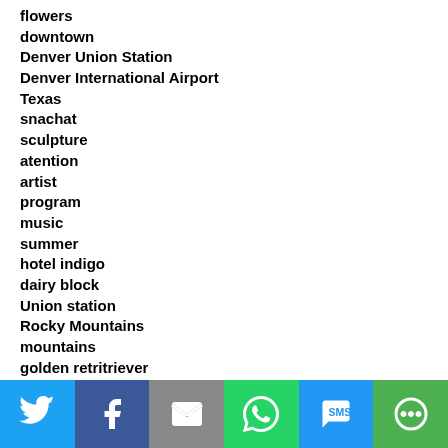flowers
downtown
Denver Union Station
Denver International Airport
Texas
snachat
sculpture
atention
artist
program
music
summer
hotel indigo
dairy block
Union station
Rocky Mountains
mountains
golden retritriever
hearth & dram
locals
[Figure (infographic): Social sharing buttons: Twitter (blue), Facebook (dark blue), Email (gray), WhatsApp (green), SMS (blue), More (green)]